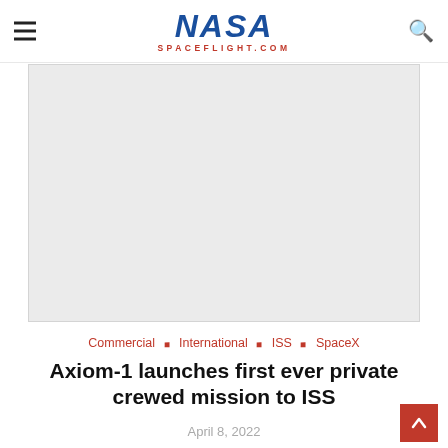NASA SPACEFLIGHT.COM
[Figure (photo): Large image placeholder area (light gray rectangle), representing the main article image for the Axiom-1 mission article.]
Commercial ◇ International ◇ ISS ◇ SpaceX
Axiom-1 launches first ever private crewed mission to ISS
April 8, 2022